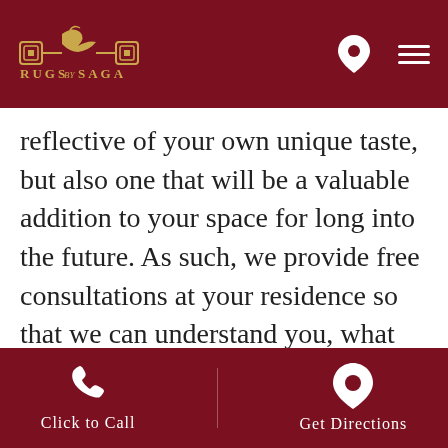Rugs by Saga
reflective of your own unique taste, but also one that will be a valuable addition to your space for long into the future. As such, we provide free consultations at your residence so that we can understand you, what you desire in a rug, and what would be the best option for your particular space. We also have a free in-home trial service, allowing you to see for yourself how a rug complements your style and take note of important details such as pile depth and feel. Once you decide which imported Pakistani rug best suits you, Rugs by Saga will deliver it to your Edwardsville home and install it at no
Click to Call | Get Directions